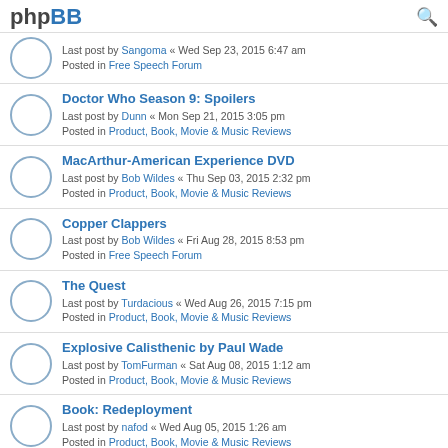phpBB
Last post by Sangoma « Wed Sep 23, 2015 6:47 am
Posted in Free Speech Forum
Doctor Who Season 9: Spoilers
Last post by Dunn « Mon Sep 21, 2015 3:05 pm
Posted in Product, Book, Movie & Music Reviews
MacArthur-American Experience DVD
Last post by Bob Wildes « Thu Sep 03, 2015 2:32 pm
Posted in Product, Book, Movie & Music Reviews
Copper Clappers
Last post by Bob Wildes « Fri Aug 28, 2015 8:53 pm
Posted in Free Speech Forum
The Quest
Last post by Turdacious « Wed Aug 26, 2015 7:15 pm
Posted in Product, Book, Movie & Music Reviews
Explosive Calisthenic by Paul Wade
Last post by TomFurman « Sat Aug 08, 2015 1:12 am
Posted in Product, Book, Movie & Music Reviews
Book: Redeployment
Last post by nafod « Wed Aug 05, 2015 1:26 am
Posted in Product, Book, Movie & Music Reviews